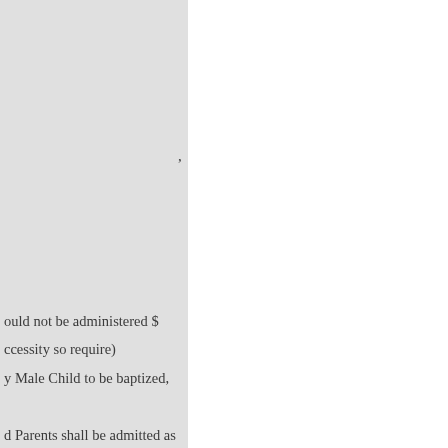, ould not be administered $ ccessity so require) y Male Child to be baptized, d Parents shall be admitted as nts or Sponsors shall give . And then the Godfathers and ither immediately after the last ing Prayer, as the Minister, by then to be filled with pure